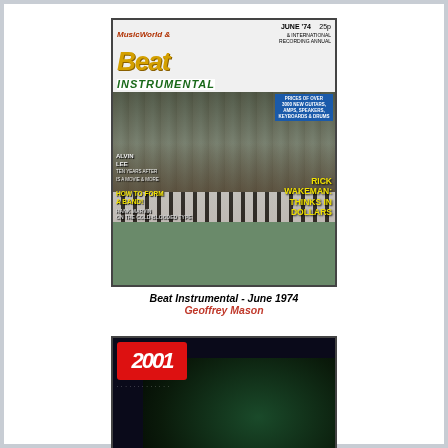[Figure (photo): Cover of Beat Instrumental magazine, June 1974, 25p. Features Rick Wakeman at keyboards with headline 'RICK WAKEMAN: THINKS IN DOLLARS'. Also mentions Alvin Lee, 'HOW TO FORM A BAND!', Hank Marvin on the cold-blooded type. Shows prices of over 3000 new guitars, amps, speakers, keyboards & drums.]
Beat Instrumental - June 1974
Geoffrey Mason
[Figure (photo): Cover of 2001 Italian music magazine featuring a guitarist performing live, with the red '2001' logo in top left and text 'in questo numero:' at the bottom.]